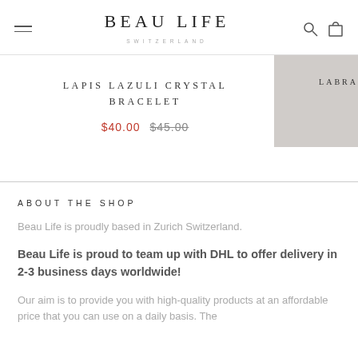BEAU LIFE SWITZERLAND
LAPIS LAZULI CRYSTAL BRACELET
$40.00 $45.00
ABOUT THE SHOP
Beau Life is proudly based in Zurich Switzerland.
Beau Life is proud to team up with DHL to offer delivery in 2-3 business days worldwide!
Our aim is to provide you with high-quality products at an affordable price that you can use on a daily basis. The